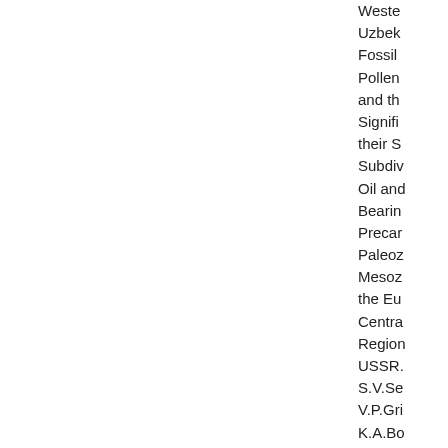Western Uzbeki Fossil Pollen and the Signific their S Subdiv Oil and Bearin Precar Paleoz Mesoz the Eu Centra Region USSR. S.V.Se V.P.Gri K.A.Bo editors